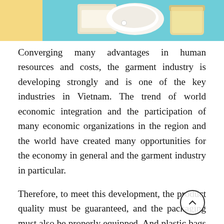[Figure (photo): Partial photo showing garment/packaging items on a yellow and teal/blue background, cropped at top of page]
Converging many advantages in human resources and costs, the garment industry is developing strongly and is one of the key industries in Vietnam. The trend of world economic integration and the participation of many economic organizations in the region and the world have created many opportunities for the economy in general and the garment industry in particular.
Therefore, to meet this development, the product quality must be guaranteed, and the packaging must also be properly equipped. And plastic bags are the solution that is being